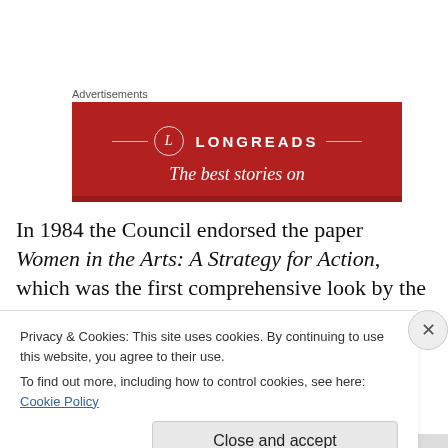Advertisements
[Figure (illustration): Longreads advertisement banner on dark red background with logo, circle with L, and text 'The best stories on']
In 1984 the Council endorsed the paper Women in the Arts: A Strategy for Action, which was the first comprehensive look by the Council at the
Privacy & Cookies: This site uses cookies. By continuing to use this website, you agree to their use.
To find out more, including how to control cookies, see here: Cookie Policy
Close and accept